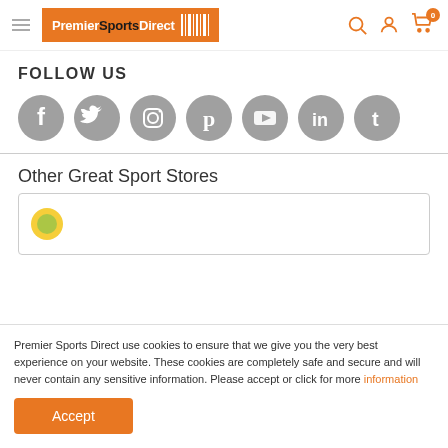Premier Sports Direct
FOLLOW US
[Figure (illustration): Seven social media icons (Facebook, Twitter, Instagram, Pinterest, YouTube, LinkedIn, Tumblr) as grey circles with white logos]
Other Great Sport Stores
[Figure (other): Box containing a sport store logo (partially visible yellow/green logo)]
Premier Sports Direct use cookies to ensure that we give you the very best experience on your website. These cookies are completely safe and secure and will never contain any sensitive information. Please accept or click for more information
Accept